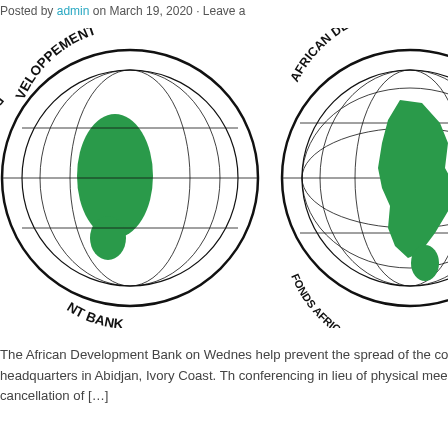Posted by admin on March 19, 2020 · Leave a
[Figure (logo): African Development Bank and African Development Fund logos side by side. Left logo partially cropped showing a globe with Africa in green and text 'AFRICAN DEVELOPMENT BANK / VELOPPEMENT BANK'. Right logo shows globe with Africa in green and text 'AFRICAN DEVELOPMENT FUND / FONDS AFRICAIN DE DEVELOPPEMENT'.]
The African Development Bank on Wednesday helped prevent the spread of the coronavirus its headquarters in Abidjan, Ivory Coast. The conferencing in lieu of physical meetings, the cancellation of […]
CATEGORY: NEWS · TAGS:
TRIAL OF LIBERIAN WAR CRI